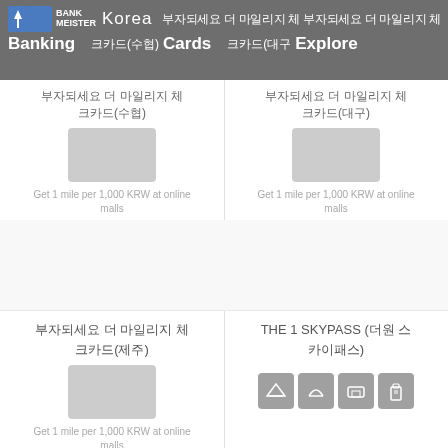BANK MEISTER Korea | Banking | Cards | Explore
부자되세요 더 마일리지 체크카드(수협)
Get 1 mile per 1,000 KRW at online malls
부자되세요 더 마일리지 체크카드(대구)
Get 1 mile per 1,000 KRW at online malls
부자되세요 더 마일리지 체크카드(제주)
Get 1 mile per 1,000 KRW at online malls
THE 1 SKYPASS (더원 스카이패스)